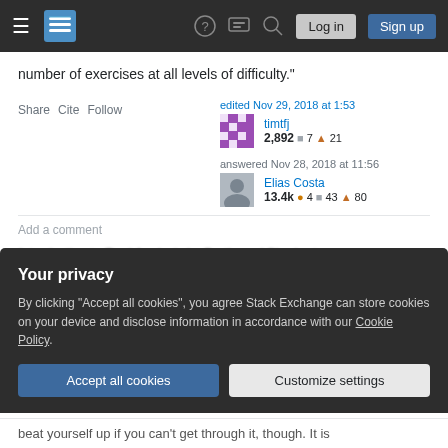Stack Exchange navigation bar with hamburger menu, logo, help, chat, search icons, Log in and Sign up buttons
number of exercises at all levels of difficulty."
Share  Cite  Follow
edited Nov 29, 2018 at 1:53
timtfj
2,892  7  21
answered Nov 28, 2018 at 11:56
Elias Costa
13.4k  4  43  80
Add a comment
Your privacy
By clicking "Accept all cookies", you agree Stack Exchange can store cookies on your device and disclose information in accordance with our Cookie Policy.
Accept all cookies
Customize settings
beat yourself up if you can't get through it, though. It is